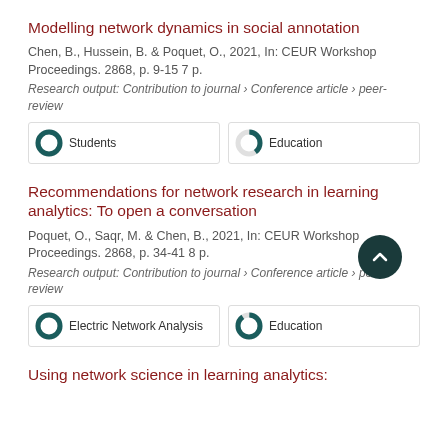Modelling network dynamics in social annotation
Chen, B., Hussein, B. & Poquet, O., 2021, In: CEUR Workshop Proceedings. 2868, p. 9-15 7 p.
Research output: Contribution to journal › Conference article › peer-review
[Figure (infographic): Two badge indicators: 100% Students (full dark teal donut) and ~40% Education (partial donut)]
Recommendations for network research in learning analytics: To open a conversation
Poquet, O., Saqr, M. & Chen, B., 2021, In: CEUR Workshop Proceedings. 2868, p. 34-41 8 p.
Research output: Contribution to journal › Conference article › peer-review
[Figure (infographic): Two badge indicators: 100% Electric Network Analysis (full dark teal donut) and ~90% Education (nearly full donut)]
Using network science in learning analytics: